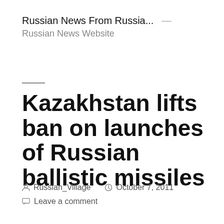Russian News From Russia... — Russian News Website
Kazakhstan lifts ban on launches of Russian ballistic missiles
Russian_Village   October 7, 2011   Leave a comment